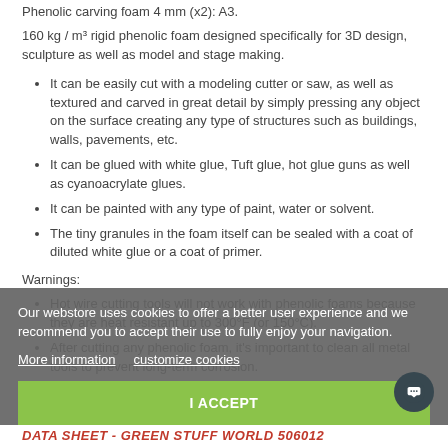Phenolic carving foam 4 mm (x2): A3.
160 kg / m³ rigid phenolic foam designed specifically for 3D design, sculpture as well as model and stage making.
It can be easily cut with a modeling cutter or saw, as well as textured and carved in great detail by simply pressing any object on the surface creating any type of structures such as buildings, walls, pavements, etc.
It can be glued with white glue, Tuft glue, hot glue guns as well as cyanoacrylate glues.
It can be painted with any type of paint, water or solvent.
The tiny granules in the foam itself can be sealed with a coat of diluted white glue or a coat of primer.
Warnings:
Hot wire cutting tools will not work with phenolic foams because they are heat resistant up to 300°F (or 150°C).
After cutting any phenolic foam, it's important to clean all metal tools to prevent long-term corrosion.
The thickness may not be exact, having variations from 0 to 1mm.
Our webstore uses cookies to offer a better user experience and we recommend you to accept their use to fully enjoy your navigation. More information  customize cookies
I ACCEPT
DATA SHEET - GREEN STUFF WORLD 506012